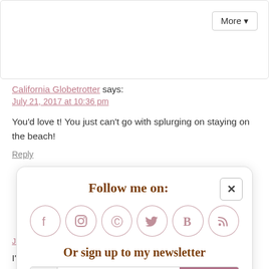More ▼
California Globetrotter says:
July 21, 2017 at 10:36 pm
You'd love t! You just can't go with splurging on staying on the beach!
Reply
[Figure (screenshot): Follow me on popup with social media icons (Facebook, Instagram, Pinterest, Twitter, Bloglovin, RSS) and newsletter sign-up form]
July 22, 2017 at 12:00 am
I'm so in love with this place after reading your post